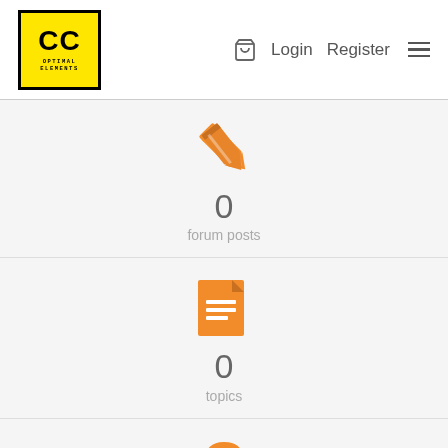CC [logo] Login Register [menu]
[Figure (infographic): Orange pencil icon with 0 forum posts stat]
0
forum posts
[Figure (infographic): Orange document/file icon with 0 topics stat]
0
topics
[Figure (infographic): Orange question mark icon with 0 questions stat]
0
questions